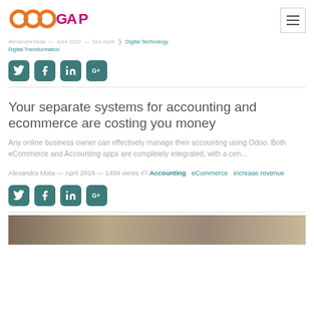OdooGAP logo and navigation
Alexandra Mota — June 2020 — See more ❯ Digital Technology Digital Transformation
[Figure (other): Social media share icons: Twitter, Facebook, LinkedIn, Google+]
Your separate systems for accounting and ecommerce are costing you money
Any online business owner can effectively manage their accounting using Odoo. Both eCommerce and Accounting apps are completely integrated, with a cen...
Alexandra Mota — April 2018 — 1494 views  Accounting  eCommerce  increase revenue
[Figure (other): Social media share icons: Twitter, Facebook, LinkedIn, Google+]
[Figure (photo): Partial image at bottom of page]